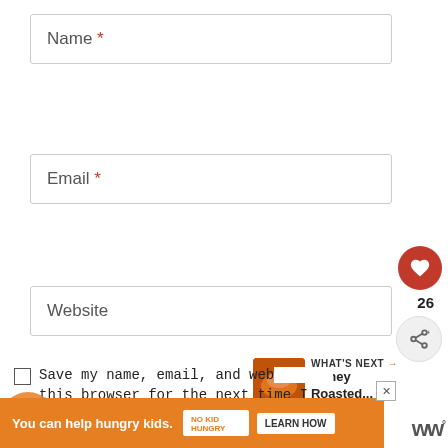Name *
Email *
Website
26
WHAT'S NEXT → Honey Roasted...
Save my name, email, and web… this browser for the next time … comment.
You can help hungry kids. NO KID HUNGRY LEARN HOW